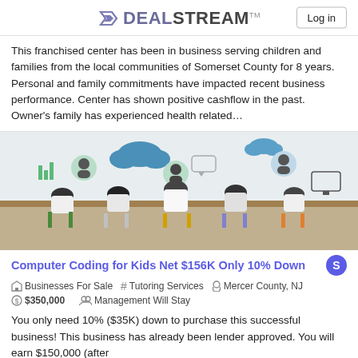DEALSTREAM
This franchised center has been in business serving children and families from the local communities of Somerset County for 8 years. Personal and family commitments have impacted recent business performance. Center has shown positive cashflow in the past. Owner's family has experienced health related...
[Figure (photo): Children sitting at desks facing a wall with educational technology-themed illustrations including clouds, people avatars, bar charts, gears, and computers. Children are viewed from behind.]
Computer Coding for Kids Net $156K Only 10% Down
Businesses For Sale   # Tutoring Services   Mercer County, NJ
$350,000   Management Will Stay
You only need 10% ($35K) down to purchase this successful business! This business has already been lender approved. You will earn $150,000 (after